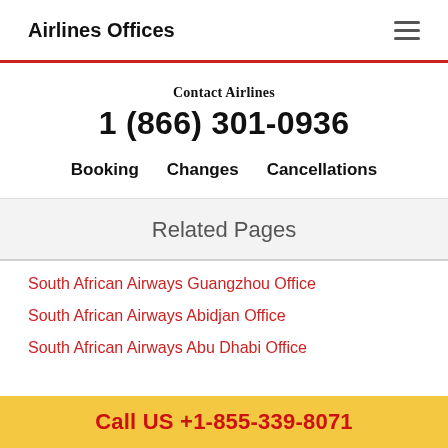Airlines Offices
Contact Airlines
1 (866) 301-0936
Booking   Changes   Cancellations
Related Pages
South African Airways Guangzhou Office
South African Airways Abidjan Office
South African Airways Abu Dhabi Office
Call US +1-855-339-8071